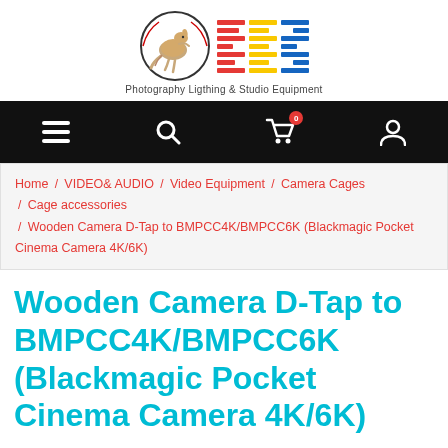[Figure (logo): PLS Photography Lighting & Studio Equipment logo with kangaroo icon and striped letter marks in red, yellow, blue]
Navigation bar with hamburger menu, search, cart (0), and user icons
Home / VIDEO& AUDIO / Video Equipment / Camera Cages / Cage accessories / Wooden Camera D-Tap to BMPCC4K/BMPCC6K (Blackmagic Pocket Cinema Camera 4K/6K)
Wooden Camera D-Tap to BMPCC4K/BMPCC6K (Blackmagic Pocket Cinema Camera 4K/6K)